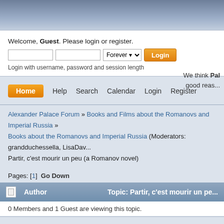[Figure (screenshot): Top navigation bar with blue-grey gradient background]
Welcome, Guest. Please login or register.
Login with username, password and session length
We think Pal... good reas...
Home  Help  Search  Calendar  Login  Register
Alexander Palace Forum » Books and Films about the Romanovs and Imperial Russia » Books about the Romanovs and Imperial Russia (Moderators: grandduchessella, LisaDav... Partir, c'est mourir un peu (a Romanov novel)
Pages: [1]  Go Down
| Author | Topic: Partir, c'est mourir un pe... |
| --- | --- |
| 0 Members and 1 Guest are viewing this topic. |  |
0 Members and 1 Guest are viewing this topic.